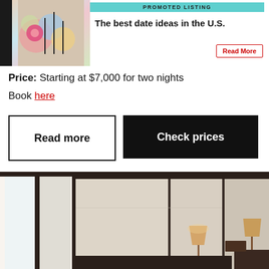[Figure (infographic): Promoted listing ad banner with colorful image on left and text 'The best date ideas in the U.S.' with a red 'Read More' button on white background.]
Price: Starting at $7,000 for two nights
Book here
Read more
Check prices
[Figure (photo): Hotel room interior with beige/cream panel walls, dark wood framing, large windows, a lamp on a side table, and a lamp on the right side near what appears to be a bed.]